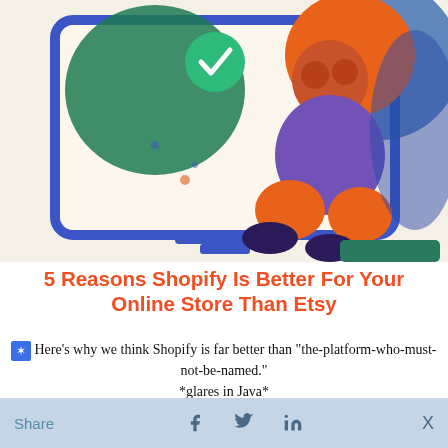[Figure (illustration): Illustration of a person with orange curly hair sitting next to a large monitor/screen showing a green checkmark badge. Person is wearing purple top and orange pants. Blue and teal decorative elements in background.]
5 Reasons Shopify Is Better For Your Online Store Than Etsy
Here's why we think Shopify is far better than "the-platform-who-must-not-be-named." *glares in Java*
READ MORE >
[Figure (illustration): Partial view of a 'YES!' sticker/badge with dotted yellow border and red text, and a partial view of a croissant on the right side.]
Share  [Facebook] [Twitter] [LinkedIn]  X